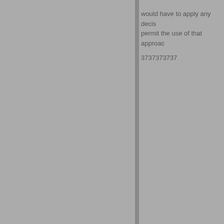would have to apply any decis permit the use of that approac
3737373737